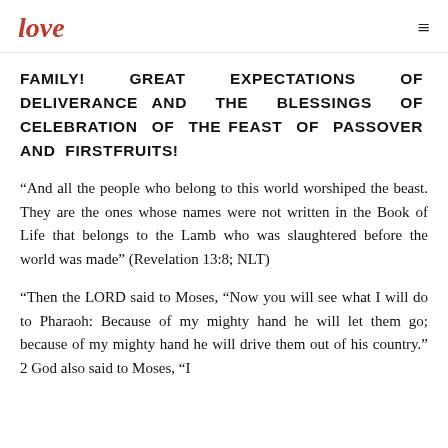love
FAMILY! GREAT EXPECTATIONS OF DELIVERANCE AND THE BLESSINGS OF CELEBRATION OF THE FEAST OF PASSOVER AND FIRSTFRUITS!
“And all the people who belong to this world worshiped the beast. They are the ones whose names were not written in the Book of Life that belongs to the Lamb who was slaughtered before the world was made” (Revelation 13:8; NLT)
“Then the LORD said to Moses, “Now you will see what I will do to Pharaoh: Because of my mighty hand he will let them go; because of my mighty hand he will drive them out of his country.” 2 God also said to Moses, “I